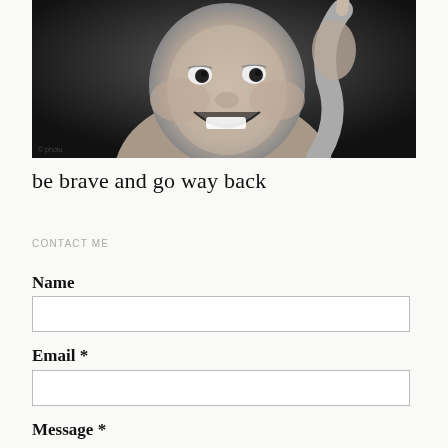[Figure (photo): Black and white portrait photo of a smiling baby/toddler with chubby cheeks, pointing one finger upward, against a dark background.]
be brave and go way back
CONTACT ME
Name
Email *
Message *